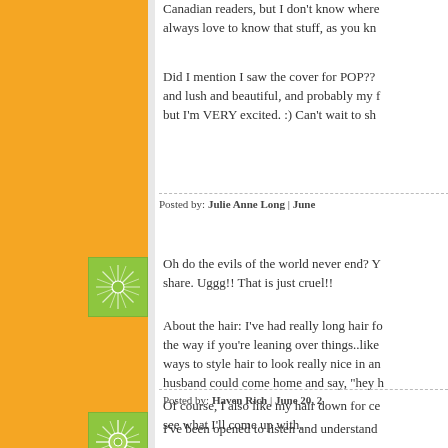Canadian readers, but I don't know where always love to know that stuff, as you kn
Did I mention I saw the cover for POP?? and lush and beautiful, and probably my f but I'm VERY excited. :) Can't wait to sh
Posted by: Julie Anne Long | June
[Figure (illustration): Green decorative square avatar with starburst/snowflake pattern]
Oh do the evils of the world never end? Y share. Uggg!! That is just cruel!!
About the hair: I've had really long hair fo the way if you're leaning over things..like ways to style hair to look really nice in an husband could come home and say, "hey h
Of course, I also like my hair down for ce see what I'll come up with.
Posted by: Haven Rich | June 20, 2
[Figure (illustration): Green decorative square avatar with radial/sunburst pattern]